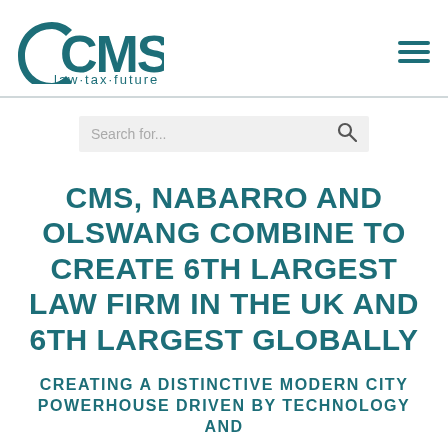[Figure (logo): CMS law·tax·future logo in teal color with circular C mark]
CMS, NABARRO AND OLSWANG COMBINE TO CREATE 6TH LARGEST LAW FIRM IN THE UK AND 6TH LARGEST GLOBALLY
CREATING A DISTINCTIVE MODERN CITY POWERHOUSE DRIVEN BY TECHNOLOGY AND